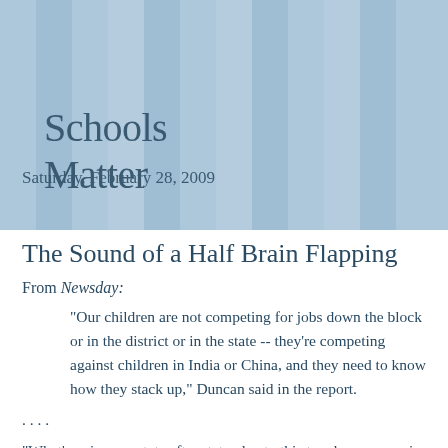Schools Matter
Saturday, February 28, 2009
The Sound of a Half Brain Flapping
From Newsday:
"Our children are not competing for jobs down the block or in the district or in the state -- they're competing against children in India or China, and they need to know how they stack up," Duncan said in the report.
. . . .
"What's going on, state after state, due to this tough economy, is devastating educationally. And we can't afford to get worse now. We have to get dramatically